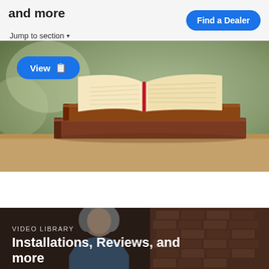and more — Jump to section ▾ | Find a Dealer
[Figure (photo): Stack of old hardcover books on a wooden table, open book on top, warm bokeh background. A blue 'View' button with a book icon overlaid in top-left.]
[Figure (photo): Elderly woman with gray hair looking down in a kitchen with brick wall background. Overlaid text: 'VIDEO LIBRARY' and 'Installations, Reviews, and more']